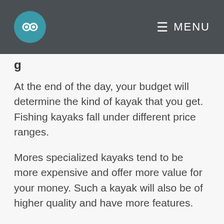MENU
At the end of the day, your budget will determine the kind of kayak that you get. Fishing kayaks fall under different price ranges.
Mores specialized kayaks tend to be more expensive and offer more value for your money. Such a kayak will also be of higher quality and have more features.
If your budget allows it, there is no harm stretching yourself so that you can get a good kayak that will serve you for longer.
Design